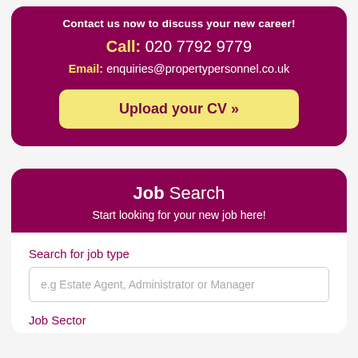Contact us now to discuss your new career!
Call: 020 7792 9779
Email: enquiries@propertypersonnel.co.uk
Upload your CV »
Job Search
Start looking for your new job here!
Search for job type
e.g Estate Agent, Administrator or Manager
Job Sector